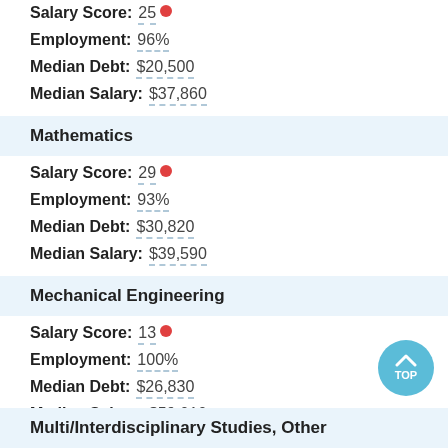Salary Score: 25
Employment: 96%
Median Debt: $20,500
Median Salary: $37,860
Mathematics
Salary Score: 29
Employment: 93%
Median Debt: $30,820
Median Salary: $39,590
Mechanical Engineering
Salary Score: 13
Employment: 100%
Median Debt: $26,830
Median Salary: $59,010
Multi/Interdisciplinary Studies, Other